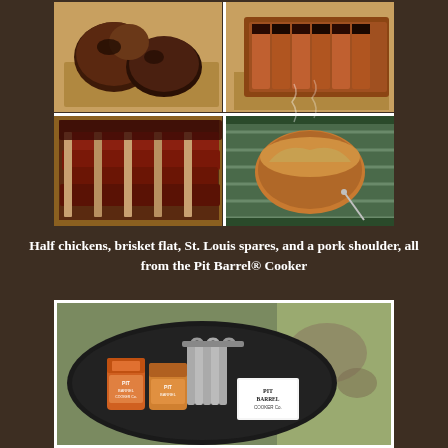[Figure (photo): Four-panel collage of BBQ foods: top-left shows half chickens on a cutting board, top-right shows sliced brisket flat on a cutting board, bottom-left shows St. Louis spare ribs stacked, bottom-right shows a pork shoulder on a grill grate]
Half chickens, brisket flat, St. Louis spares, and a pork shoulder, all from the Pit Barrel® Cooker
[Figure (photo): Photo of Pit Barrel Cooker accessories on a black tray: spice rub jars, metal hooks, and a Pit Barrel Cooker Co. card]